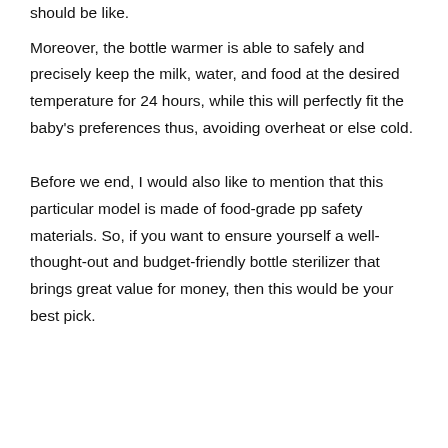should be like.
Moreover, the bottle warmer is able to safely and precisely keep the milk, water, and food at the desired temperature for 24 hours, while this will perfectly fit the baby's preferences thus, avoiding overheat or else cold.
Before we end, I would also like to mention that this particular model is made of food-grade pp safety materials. So, if you want to ensure yourself a well-thought-out and budget-friendly bottle sterilizer that brings great value for money, then this would be your best pick.